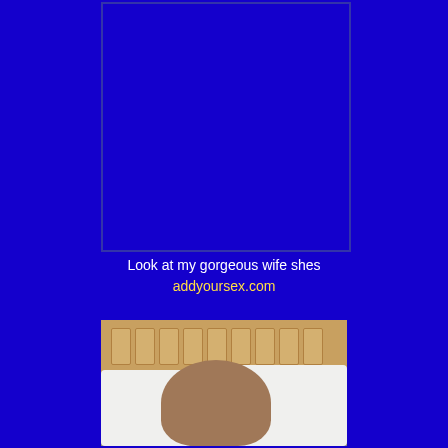[Figure (photo): Blue background with a rectangular image placeholder at the top center]
Look at my gorgeous wife shes addyoursex.com
[Figure (photo): Photo of a woman lying in bed with white pillows and a wooden headboard]